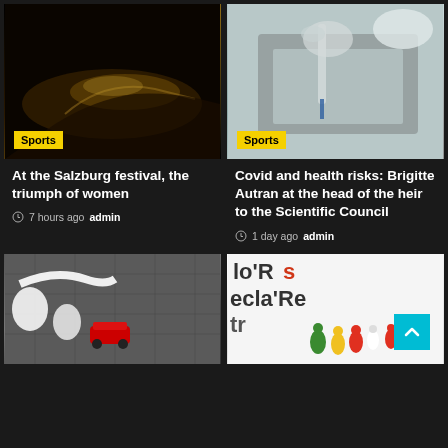[Figure (photo): Dancer in white dress lying on stage, dark background, Sports badge overlay]
At the Salzburg festival, the triumph of women
7 hours ago  admin
[Figure (photo): Medical gloved hands holding syringe on metallic tray, Sports badge overlay]
Covid and health risks: Brigitte Autran at the head of the heir to the Scientific Council
1 day ago  admin
[Figure (photo): Aerial view of racing car on cobblestone street with white markings]
[Figure (photo): Newspaper print close-up with toy football figurines]